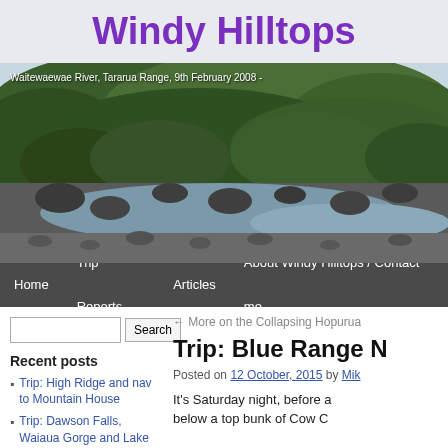Windy Hilltops
[Figure (photo): Waitewaewae River, Tararua Range, 9th February 2008 - rocky river scene with forest in background]
Home   Trip Reports   Articles   About Windy Hilltops / Contact me
← More on the Collapsing Hopurua
Recent posts
Trip: High Ridge and nav to Mountain House
Trip: Dawson Falls, Waiaua Gorge and Lake Dive Loop
A sad Tararua tale of the usual
Trip: Blue Range N
Posted on 12 October, 2015 by Mik
It's Saturday night, before a below a top bunk of Cow C